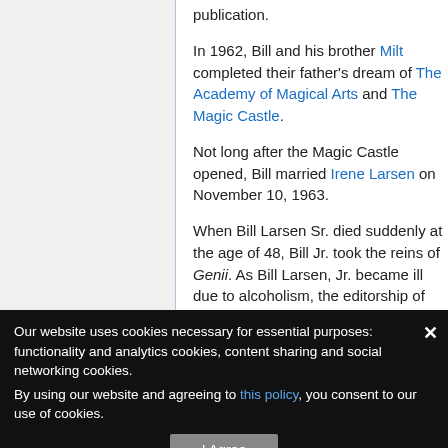publication.
In 1962, Bill and his brother Milt completed their father's dream of The Academy of Magical Arts and The Magic Castle.
Not long after the Magic Castle opened, Bill married Irene Larsen on November 10, 1963.
When Bill Larsen Sr. died suddenly at the age of 48, Bill Jr. took the reins of Genii. As Bill Larsen, Jr. became ill due to alcoholism, the editorship of Genii was taken over first by Dante Larsen (the son
References
... August 1922
Our website uses cookies necessary for essential purposes: functionality and analytics cookies, content sharing and social networking cookies.
By using our website and agreeing to this policy, you consent to our use of cookies.